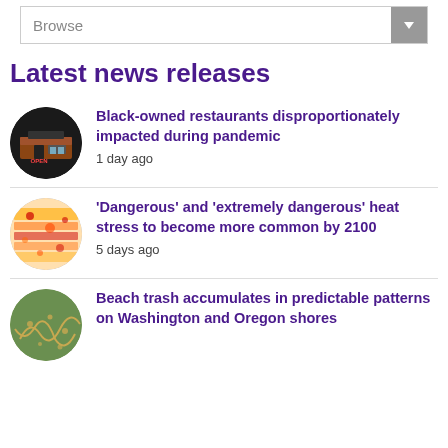Browse
Latest news releases
Black-owned restaurants disproportionately impacted during pandemic — 1 day ago
'Dangerous' and 'extremely dangerous' heat stress to become more common by 2100 — 5 days ago
Beach trash accumulates in predictable patterns on Washington and Oregon shores